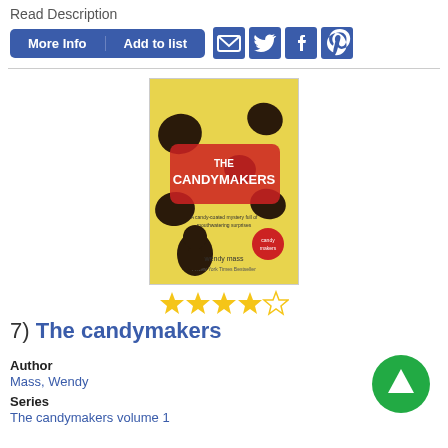Read Description
More Info  Add to list
[Figure (screenshot): Book cover of 'The Candymakers' by Wendy Mass, yellow background with colorful illustrated characters and title in red bubble letters]
[Figure (infographic): 4 out of 5 star rating shown as yellow stars]
7) The candymakers
Author
Mass, Wendy
Series
The candymakers volume 1